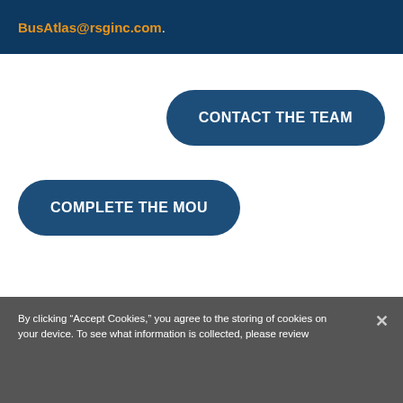BusAtlas@rsginc.com.
CONTACT THE TEAM
COMPLETE THE MOU
By clicking “Accept Cookies,” you agree to the storing of cookies on your device. To see what information is collected, please review
Review Cookie Settings
Accept All Cookies